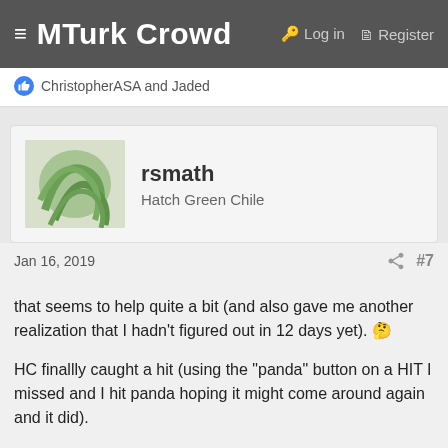MTurk Crowd  Log in  Register
ChristopherASA and Jaded
rsmath
Hatch Green Chile
Jan 16, 2019  #7
that seems to help quite a bit (and also gave me another realization that I hadn't figured out in 12 days yet). 🤔

HC finallly caught a hit (using the "panda" button on a HIT I missed and I hit panda hoping it might come around again and it did).

I guess I'll have to send up a panda for the daily HIT I want since requestor searches aren't available in HC and one day I'll probably get it.

I've also done the most tasks I've ever had in an hour (4 this